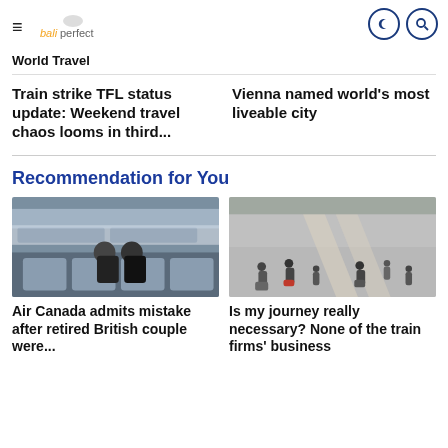bali perfect — World Travel
Train strike TFL status update: Weekend travel chaos looms in third...
Vienna named world's most liveable city
Recommendation for You
[Figure (photo): Interior of airplane cabin with passengers wearing masks]
Air Canada admits mistake after retired British couple were...
[Figure (photo): Busy train station concourse with travelers and luggage]
Is my journey really necessary? None of the train firms' business